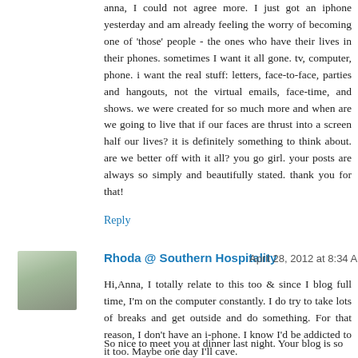anna, I could not agree more. I just got an iphone yesterday and am already feeling the worry of becoming one of 'those' people - the ones who have their lives in their phones. sometimes I want it all gone. tv, computer, phone. i want the real stuff: letters, face-to-face, parties and hangouts, not the virtual emails, face-time, and shows. we were created for so much more and when are we going to live that if our faces are thrust into a screen half our lives? it is definitely something to think about. are we better off with it all? you go girl. your posts are always so simply and beautifully stated. thank you for that!
Reply
[Figure (photo): Small avatar photo of a woman with light hair]
Rhoda @ Southern Hospitality   April 28, 2012 at 8:34 AM
Hi,Anna, I totally relate to this too & since I blog full time, I'm on the computer constantly. I do try to take lots of breaks and get outside and do something. For that reason, I don't have an i-phone. I know I'd be addicted to it too. Maybe one day I'll cave.
So nice to meet you at dinner last night. Your blog is so